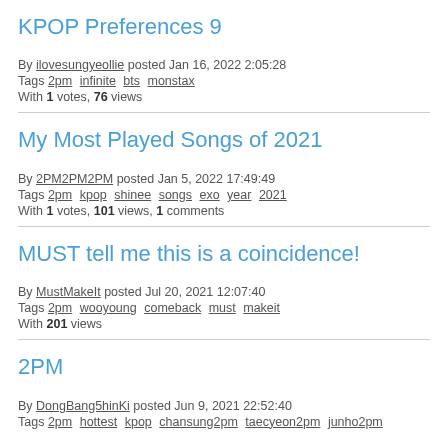KPOP Preferences 9
By ilovesungyeollie posted Jan 16, 2022 2:05:28
Tags 2pm  infinite  bts  monstax
With 1 votes, 76 views
My Most Played Songs of 2021
By 2PM2PM2PM posted Jan 5, 2022 17:49:49
Tags 2pm  kpop  shinee  songs  exo  year  2021
With 1 votes, 101 views, 1 comments
MUST tell me this is a coincidence!
By MustMakeIt posted Jul 20, 2021 12:07:40
Tags 2pm  wooyoung  comeback  must  makeit
With 201 views
2PM
By DongBang5hinKi posted Jun 9, 2021 22:52:40
Tags 2pm  hottest  kpop  chansung2pm  taecyeon2pm  junho2pm